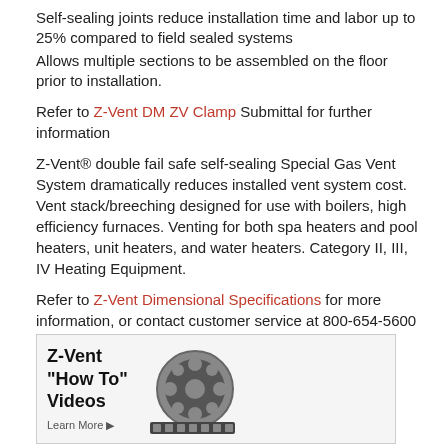Self-sealing joints reduce installation time and labor up to 25% compared to field sealed systems
Allows multiple sections to be assembled on the floor prior to installation.
Refer to Z-Vent DM ZV Clamp Submittal for further information
Z-Vent® double fail safe self-sealing Special Gas Vent System dramatically reduces installed vent system cost. Vent stack/breeching designed for use with boilers, high efficiency furnaces. Venting for both spa heaters and pool heaters, unit heaters, and water heaters. Category II, III, IV Heating Equipment.
Refer to Z-Vent Dimensional Specifications for more information, or contact customer service at 800-654-5600 sales@z-flex.com.
[Figure (screenshot): Z-Vent 'How To' Videos promotional box with film reel graphic and Learn More button]